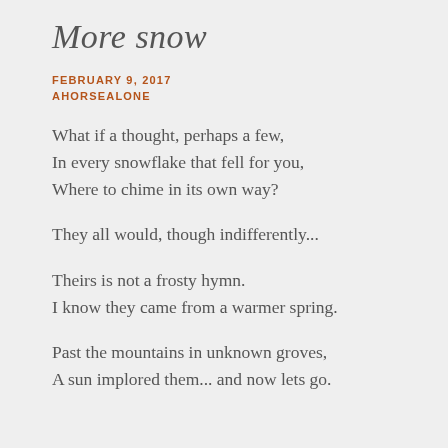More snow
FEBRUARY 9, 2017
AHORSEALONE
What if a thought, perhaps a few,
In every snowflake that fell for you,
Where to chime in its own way?
They all would, though indifferently...
Theirs is not a frosty hymn.
I know they came from a warmer spring.
Past the mountains in unknown groves,
A sun implored them... and now lets go.